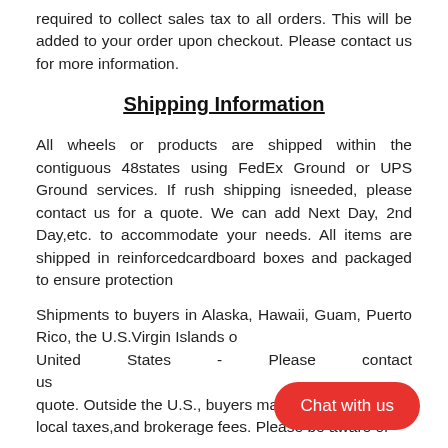required to collect sales tax to all orders. This will be added to your order upon checkout. Please contact us for more information.
Shipping Information
All wheels or products are shipped within the contiguous 48states using FedEx Ground or UPS Ground services. If rush shipping isneeded, please contact us for a quote. We can add Next Day, 2nd Day,etc. to accommodate your needs. All items are shipped in reinforcedcardboard boxes and packaged to ensure protection
Shipments to buyers in Alaska, Hawaii, Guam, Puerto Rico, the U.S.Virgin Islands or United States - Please contact us quote. Outside the U.S., buyers may local taxes,and brokerage fees. Please be aware of